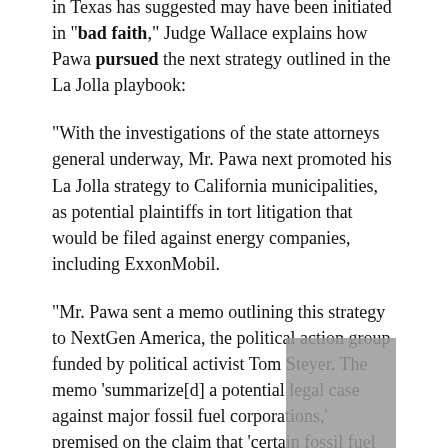in Texas has suggested may have been initiated in "bad faith," Judge Wallace explains how Pawa pursued the next strategy outlined in the La Jolla playbook:
"With the investigations of the state attorneys general underway, Mr. Pawa next promoted his La Jolla strategy to California municipalities, as potential plaintiffs in tort litigation that would be filed against energy companies, including ExxonMobil.
"Mr. Pawa sent a memo outlining this strategy to NextGen America, the political action group funded by political activist Tom Steyer. The memo ‘summarize[d] a potential legal case against major fossil fuel corporations,’ premised on the claim that ‘certain fossil fuel companies (most notoriously ExxonMobil), have engaged in a campaign and conspiracy of deception and denial on global warming.’ Mr. Pawa emphasized that ‘simply proceeding to the discovery phase would be significant’ and ‘obtaining